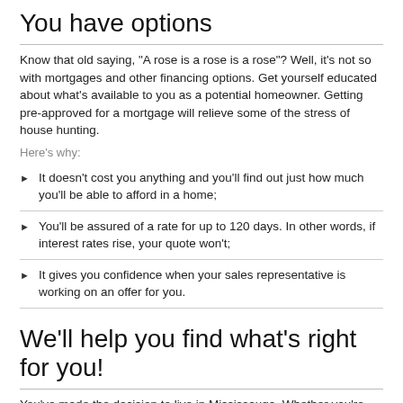You have options
Know that old saying, "A rose is a rose is a rose"? Well, it's not so with mortgages and other financing options. Get yourself educated about what's available to you as a potential homeowner. Getting pre-approved for a mortgage will relieve some of the stress of house hunting.
Here's why:
It doesn't cost you anything and you'll find out just how much you'll be able to afford in a home;
You'll be assured of a rate for up to 120 days. In other words, if interest rates rise, your quote won't;
It gives you confidence when your sales representative is working on an offer for you.
We'll help you find what's right for you!
You've made the decision to live in Mississauga. Whether you're buying your first home, selling and buying another or looking for refinancing, here are some options you can discuss with a